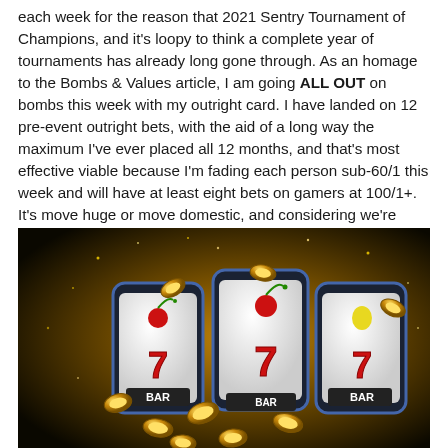each week for the reason that 2021 Sentry Tournament of Champions, and it's loopy to think a complete year of tournaments has already long gone through. As an homage to the Bombs & Values article, I am going ALL OUT on bombs this week with my outright card. I have landed on 12 pre-event outright bets, with the aid of a long way the maximum I've ever placed all 12 months, and that's most effective viable because I'm fading each person sub-60/1 this week and will have at least eight bets on gamers at 100/1+. It's move huge or move domestic, and considering we're already about to head home for the vacations, I have no desire however to also swing large.
[Figure (photo): Slot machine reels showing cherries and number 7 symbols with gold coins flying around, on a dark golden sparkle background.]